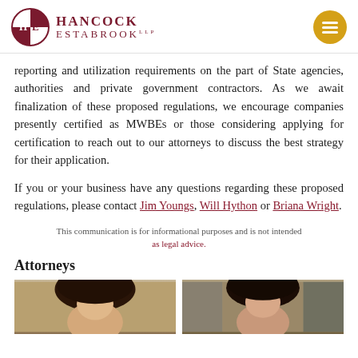[Figure (logo): Hancock Estabrook law firm logo with circular HE monogram and firm name, plus hamburger menu icon]
reporting and utilization requirements on the part of State agencies, authorities and private government contractors. As we await finalization of these proposed regulations, we encourage companies presently certified as MWBEs or those considering applying for certification to reach out to our attorneys to discuss the best strategy for their application.
If you or your business have any questions regarding these proposed regulations, please contact Jim Youngs, Will Hython or Briana Wright.
This communication is for informational purposes and is not intended as legal advice.
Attorneys
[Figure (photo): Two attorney portrait photos side by side, both with dark hair, photographed against stone/architectural backgrounds]